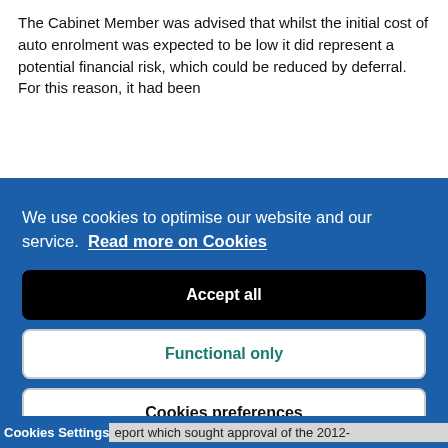The Cabinet Member was advised that whilst the initial cost of auto enrolment was expected to be low it did represent a potential financial risk, which could be reduced by deferral. For this reason, it had been
We use cookies to optimise our website and our service.  Read more on Cookies
Accept all
Functional only
Cookies preferences
Cookies Settings  eport which sought approval of the 2012-